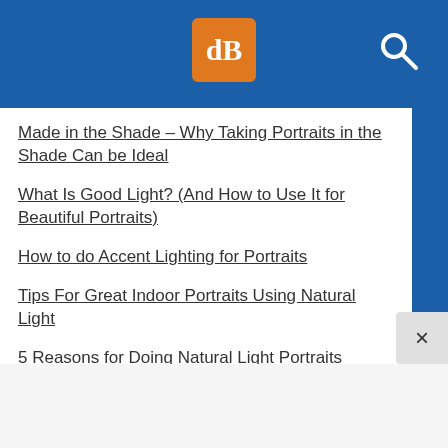[Figure (logo): dPS logo - orange square with white stylized 'dB' letters in serif font, on blue header bar with search icon]
Made in the Shade – Why Taking Portraits in the Shade Can be Ideal
What Is Good Light? (And How to Use It for Beautiful Portraits)
How to do Accent Lighting for Portraits
Tips For Great Indoor Portraits Using Natural Light
5 Reasons for Doing Natural Light Portraits
Review of the Westcott Eyelighter for Headshots and Portraits
How to Use Angle of Light in People